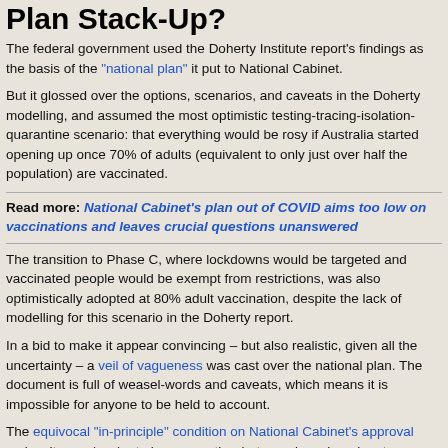Plan Stack-Up?
The federal government used the Doherty Institute report's findings as the basis of the “national plan” it put to National Cabinet.
But it glossed over the options, scenarios, and caveats in the Doherty modelling, and assumed the most optimistic testing-tracing-isolation-quarantine scenario: that everything would be rosy if Australia started opening up once 70% of adults (equivalent to only just over half the population) are vaccinated.
Read more: National Cabinet’s plan out of COVID aims too low on vaccinations and leaves crucial questions unanswered
The transition to Phase C, where lockdowns would be targeted and vaccinated people would be exempt from restrictions, was also optimistically adopted at 80% adult vaccination, despite the lack of modelling for this scenario in the Doherty report.
In a bid to make it appear convincing – but also realistic, given all the uncertainty – a veil of vagueness was cast over the national plan. The document is full of weasel-words and caveats, which means it is impossible for anyone to be held to account.
The equivocal “in-principle” condition on National Cabinet’s approval makes it even harder to know exactly what premiers signed up to.
But the severity of the New South Wales outbreak has forced some of our...